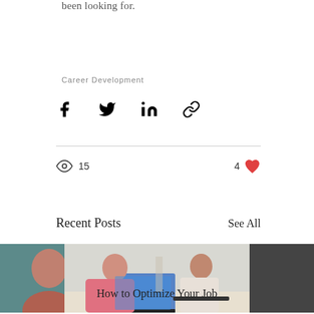been looking for.
Career Development
[Figure (infographic): Social share icons: Facebook, Twitter, LinkedIn, Link]
15 views, 4 likes
Recent Posts
See All
[Figure (photo): Left partial photo of a person]
[Figure (photo): Center photo: two people at a desk with a laptop, man in pink shirt and woman in white top]
[Figure (photo): Right partial dark image]
How to Optimize Your Job